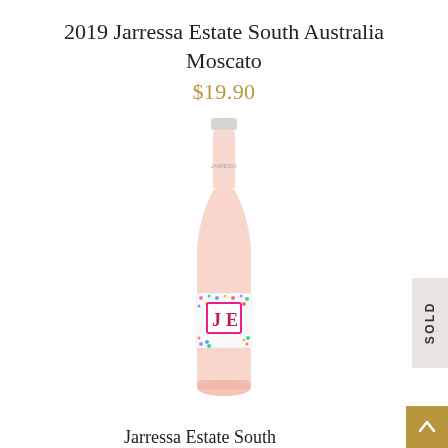2019 Jarressa Estate South Australia Moscato
$19.90
[Figure (photo): A tall wine bottle with a light pink/rosé tinted glass body, white capsule at the top, and a colorful floral label featuring the JE monogram initials in a pink bordered white box on a multi-colored confetti/flower pattern background. The wine is a rosé/moscato style.]
SOLD
Jarressa Estate South